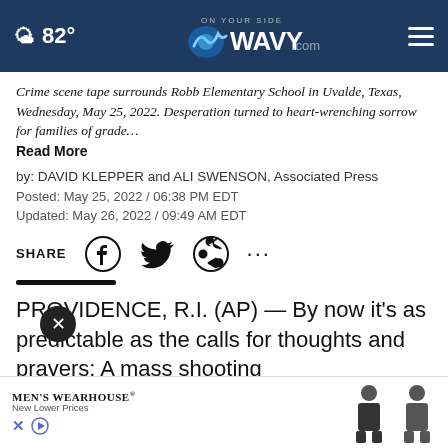☁ 82° | WAVY.com ON YOUR SIDE
Crime scene tape surrounds Robb Elementary School in Uvalde, Texas, Wednesday, May 25, 2022. Desperation turned to heart-wrenching sorrow for families of grade… Read More
by: DAVID KLEPPER and ALI SWENSON, Associated Press
Posted: May 25, 2022 / 06:38 PM EDT
Updated: May 26, 2022 / 09:49 AM EDT
SHARE
PROVIDENCE, R.I. (AP) — By now it's as predictable as the calls for thoughts and prayers: A mass shooting leaves many dead, and wild conspiracy theories and misinf…